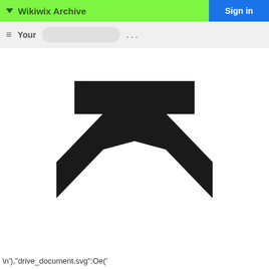Wikiwix Archive
Sign in
[Figure (illustration): Large black downward chevron/arrow icon centered on white background]
\n'),"drive_document.svg":Oe('